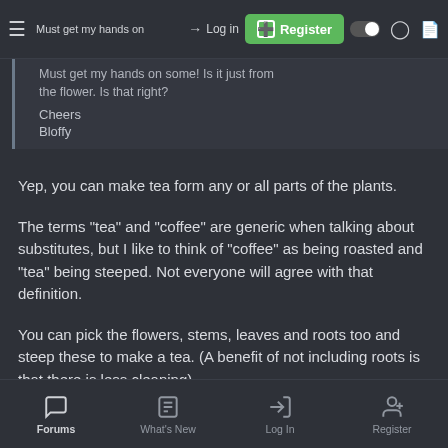Must get my hands on → Log in [Register] ea n the flower. Is that right?
Cheers
Bloffy
Yep, you can make tea form any or all parts of the plants.
The terms "tea" and "coffee" are generic when talking about substitutes, but I like to think of "coffee" as being roasted and "tea" being steeped. Not everyone will agree with that definition.
You can pick the flowers, stems, leaves and roots too and steep these to make a tea. (A benefit of not including roots is that there is less cleaning)
The quantity and length of steeping is up to you, if its too strong you
Forums  What's New  Log In  Register